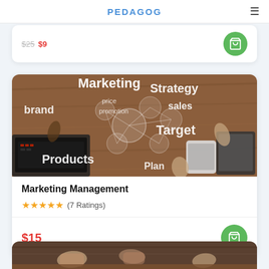PEDAGOG
$25  $9
[Figure (photo): Marketing concept image showing people around a table with overlay text words: Marketing, brand, promotion, price, strategy, sales, Products, Target, Plan]
Marketing Management
★★★★★ (7 Ratings)
$15
[Figure (photo): Partially visible image at the bottom of the page showing people's hands on a table]